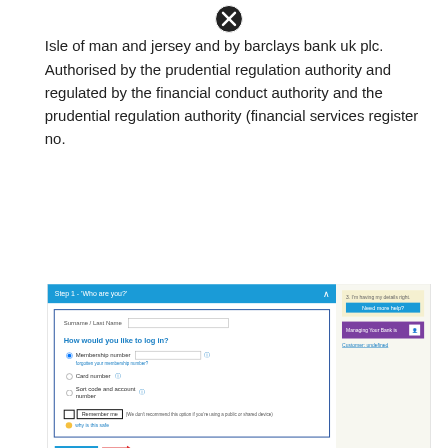[Figure (other): Close/cancel circular icon at the top center of the page]
Isle of man and jersey and by barclays bank uk plc. Authorised by the prudential regulation authority and regulated by the financial conduct authority and the prudential regulation authority (financial services register no.
[Figure (screenshot): Screenshot of a Barclays online banking login page showing 'Step 1 - Who are you?' form with fields for Surname/Last Name and options to log in via Membership number, Card number, or Sort code and account number, plus a Remember me checkbox and Next step button. A sidebar shows help options and a purple promotional banner.]
Source: finissue.com
See your accounts in one place. This service is for clients with holdings in uk, isle of man and jersey.
[Figure (other): Close/cancel circular icon at the bottom center of the page]